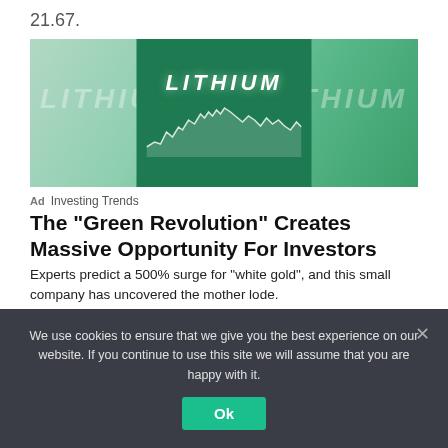21.67.
[Figure (illustration): Green-toned advertisement image with 'LITHIUM' text overlaid on a stock chart background, centered green panel with white chart lines beneath the LITHIUM heading.]
Ad  Investing Trends
The "Green Revolution" Creates Massive Opportunity For Investors
Experts predict a 500% surge for "white gold", and this small company has uncovered the mother lode.
We use cookies to ensure that we give you the best experience on our website. If you continue to use this site we will assume that you are happy with it.